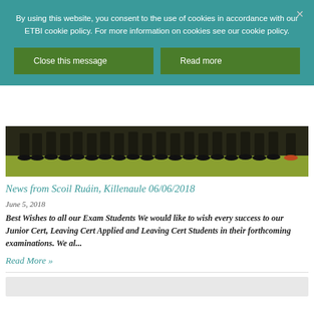By using this website, you consent to the use of cookies in accordance with our ETBI cookie policy. For more information on cookies see our cookie policy.
Close this message
Read more
[Figure (photo): Photo showing legs and feet of a group of people standing on grass, viewed from waist down, wearing dark trousers and formal shoes]
News from Scoil Ruáin, Killenaule 06/06/2018
June 5, 2018
Best Wishes to all our Exam Students We would like to wish every success to our Junior Cert, Leaving Cert Applied and Leaving Cert Students in their forthcoming examinations. We al...
Read More »
[Figure (photo): Partially visible image at the bottom of the page, appears light grey/white]